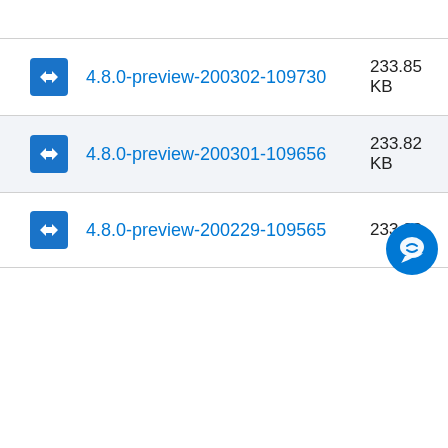4.8.0-preview-200302-109730 233.85 KB
4.8.0-preview-200301-109656 233.82 KB
4.8.0-preview-200229-109565 233.83